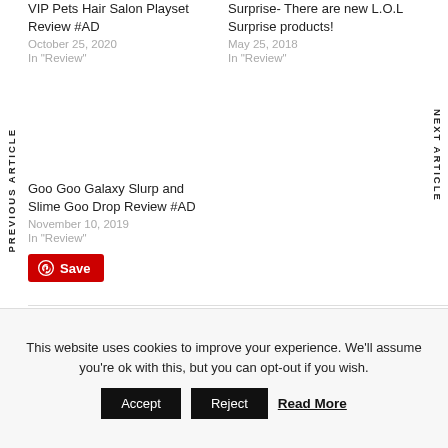VIP Pets Hair Salon Playset Review #AD
October 25, 2020
In "Review"
Surprise- There are new L.O.L Surprise products!
May 25, 2018
In "Review"
Goo Goo Galaxy Slurp and Slime Goo Drop Review #AD
November 10, 2019
In "Review"
Save
PREVIOUS ARTICLE
NEXT ARTICLE
This website uses cookies to improve your experience. We'll assume you're ok with this, but you can opt-out if you wish.
Accept
Reject
Read More